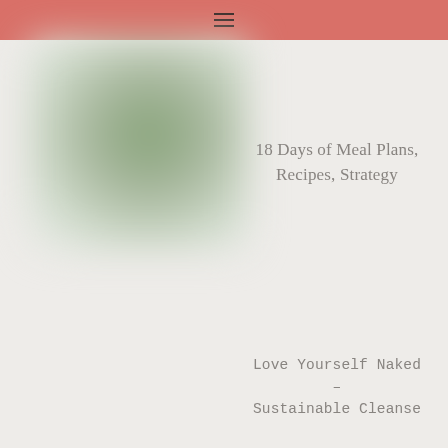≡
[Figure (photo): Blurred green plant or object photo on light grey background]
18 Days of Meal Plans, Recipes, Strategy
Love Yourself Naked – Sustainable Cleanse